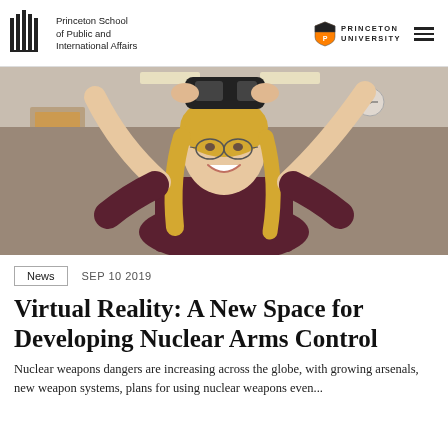Princeton School of Public and International Affairs | Princeton University
[Figure (photo): A smiling woman with blonde hair and glasses, wearing a dark maroon t-shirt, holding a virtual reality headset above her head with both arms raised. The background shows an indoor room setting.]
News   SEP 10 2019
Virtual Reality: A New Space for Developing Nuclear Arms Control
Nuclear weapons dangers are increasing across the globe, with growing arsenals, new weapon systems, plans for using nuclear weapons even...